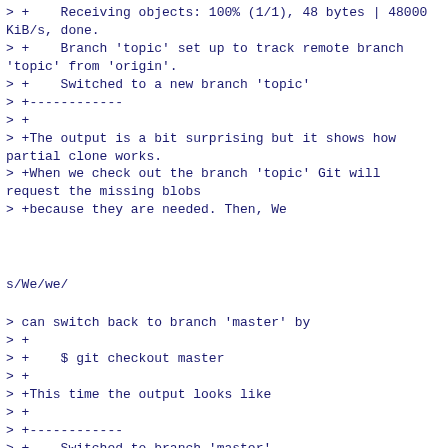> +    Receiving objects: 100% (1/1), 48 bytes | 48000 KiB/s, done.
> +    Branch 'topic' set up to track remote branch 'topic' from 'origin'.
> +    Switched to a new branch 'topic'
> +------------
> +
> +The output is a bit surprising but it shows how partial clone works.
> +When we check out the branch 'topic' Git will request the missing blobs
> +because they are needed. Then, We
s/We/we/
> can switch back to branch 'master' by
> +
> +    $ git checkout master
> +
> +This time the output looks like
> +
> +------------
> +    Switched to branch 'master'
> +    Your branch is up to date with 'origin/master'.
> +------------
> +
> +It shows that when we switch back to the previous location, the checkout
> +is done without a download because the repository has all the blobs that
> +were downloaded previously.